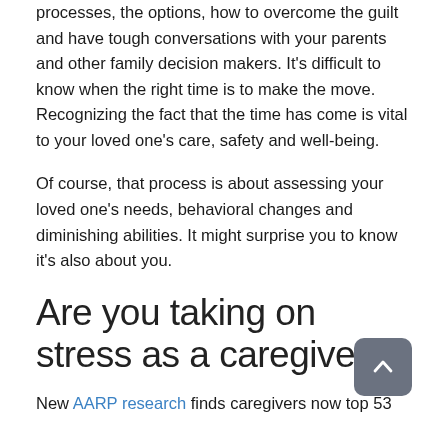processes, the options, how to overcome the guilt and have tough conversations with your parents and other family decision makers. It's difficult to know when the right time is to make the move. Recognizing the fact that the time has come is vital to your loved one's care, safety and well-being.
Of course, that process is about assessing your loved one's needs, behavioral changes and diminishing abilities. It might surprise you to know it's also about you.
Are you taking on stress as a caregiver?
New AARP research finds caregivers now top 53